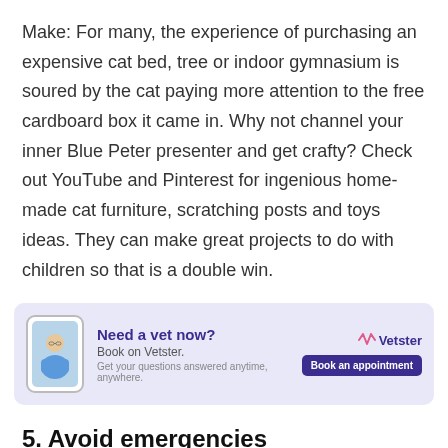Make: For many, the experience of purchasing an expensive cat bed, tree or indoor gymnasium is soured by the cat paying more attention to the free cardboard box it came in. Why not channel your inner Blue Peter presenter and get crafty? Check out YouTube and Pinterest for ingenious home-made cat furniture, scratching posts and toys ideas. They can make great projects to do with children so that is a double win.
[Figure (infographic): Advertisement banner for Vetster: shows a phone with a person (vet) on screen, text 'Need a vet now? Book on Vetster. Get your questions answered anytime, anywhere.' with Vetster logo and 'Book an appointment' button on a light purple background.]
5. Avoid emergencies
If your pet is 'not right', it can be tempting to leave